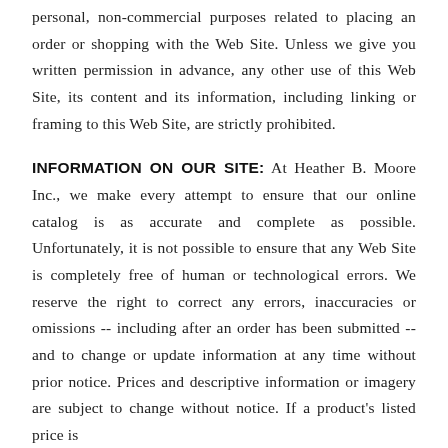personal, non-commercial purposes related to placing an order or shopping with the Web Site. Unless we give you written permission in advance, any other use of this Web Site, its content and its information, including linking or framing to this Web Site, are strictly prohibited.
INFORMATION ON OUR SITE: At Heather B. Moore Inc., we make every attempt to ensure that our online catalog is as accurate and complete as possible. Unfortunately, it is not possible to ensure that any Web Site is completely free of human or technological errors. We reserve the right to correct any errors, inaccuracies or omissions -- including after an order has been submitted -- and to change or update information at any time without prior notice. Prices and descriptive information or imagery are subject to change without notice. If a product's listed price is